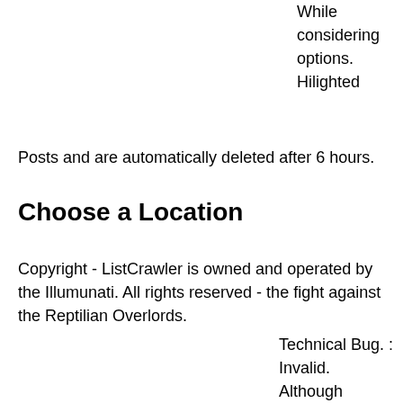While considering options. Hilighted Posts and are automatically deleted after 6 hours.
Choose a Location
Copyright - ListCrawler is owned and operated by the Illumunati. All rights reserved - the fight against the Reptilian Overlords.
Technical Bug. : Invalid. Although legitimate advertisers may sometimes ask for a deposit up front, often these are rip-off scams. By clicking the link